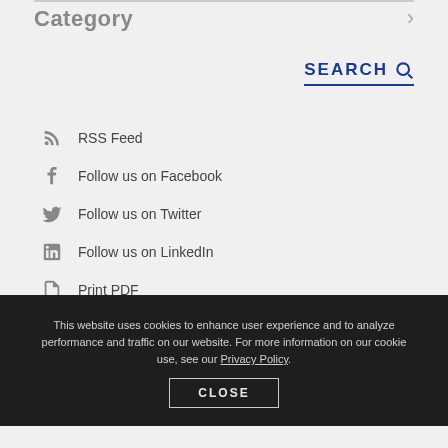Category
SEARCH
RSS Feed
Follow us on Facebook
Follow us on Twitter
Follow us on LinkedIn
Print PDF
This website uses cookies to enhance user experience and to analyze performance and traffic on our website. For more information on our cookie use, see our Privacy Policy.
CLOSE
Subscribe
* indicates required
Email Address *